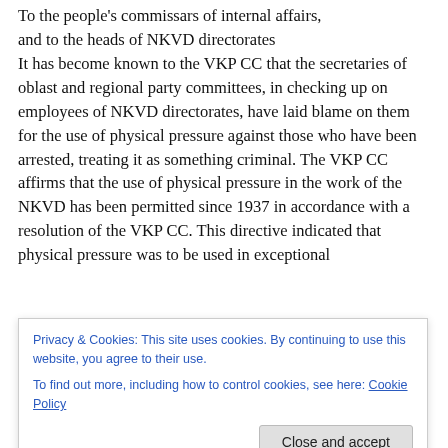To the people's commissars of internal affairs, and to the heads of NKVD directorates
It has become known to the VKP CC that the secretaries of oblast and regional party committees, in checking up on employees of NKVD directorates, have laid blame on them for the use of physical pressure against those who have been arrested, treating it as something criminal. The VKP CC affirms that the use of physical pressure in the work of the NKVD has been permitted since 1937 in accordance with a resolution of the VKP CC. This directive indicated that physical pressure was to be used in exceptional
thwart the unmasking of co-conspirators who are still at
Privacy & Cookies: This site uses cookies. By continuing to use this website, you agree to their use.
To find out more, including how to control cookies, see here: Cookie Policy